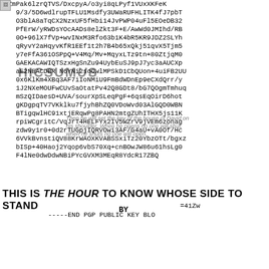[Figure (screenshot): Scrambled PGP public key block text with overlaid text reading HICSUMIUS and scripture quote overlay]
THIS IS THE HOUR TO KNOW WHOSE SIDE TO STAND BY
-----END PGP PUBLIC KEY BLOCK-----
[Figure (photo): Blurred photo of people outdoors with a share button icon overlay. Caption: Please see GPG keys on PGP MIT EDU:]